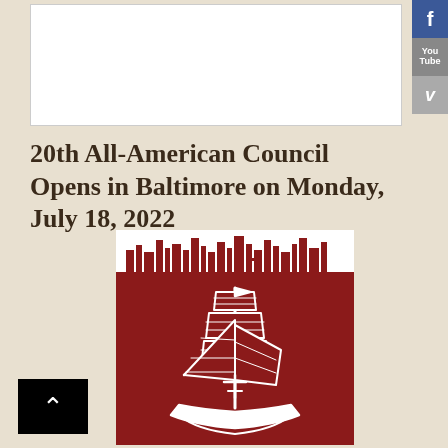[Figure (other): White advertisement/banner box at top of page]
20th All-American Council Opens in Baltimore on Monday, July 18, 2022
[Figure (logo): Event logo showing a white sailing ship with an Orthodox cross on the sail against a dark red background, with a city skyline silhouette at the top. Logo for the 20th All-American Council in Baltimore 2022.]
[Figure (other): Black back-to-top button with white upward caret arrow]